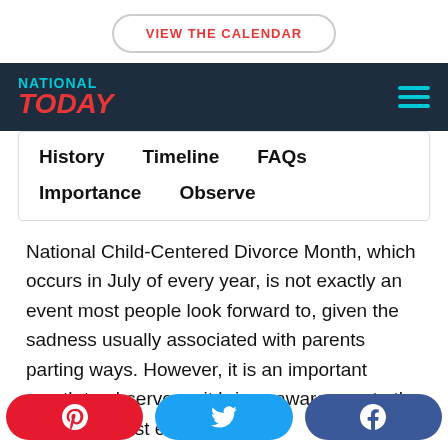VIEW THE CALENDAR
[Figure (logo): National Today logo with hamburger menu icon on dark navy background]
History  Timeline  FAQs  Importance  Observe
National Child-Centered Divorce Month, which occurs in July of every year, is not exactly an event most people look forward to, given the sadness usually associated with parents parting ways. However, it is an important month to observe as it brings awareness to the ideal and most effective
[Figure (infographic): Social media share buttons: Pinterest (red), Twitter (blue), Facebook (dark blue)]